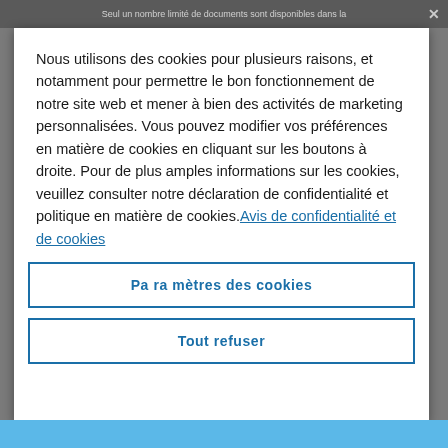Seul un nombre limité de documents sont disponibles dans la
Nous utilisons des cookies pour plusieurs raisons, et notamment pour permettre le bon fonctionnement de notre site web et mener à bien des activités de marketing personnalisées. Vous pouvez modifier vos préférences en matière de cookies en cliquant sur les boutons à droite. Pour de plus amples informations sur les cookies, veuillez consulter notre déclaration de confidentialité et politique en matière de cookies.Avis de confidentialité et de cookies
Paramètres des cookies
Tout refuser